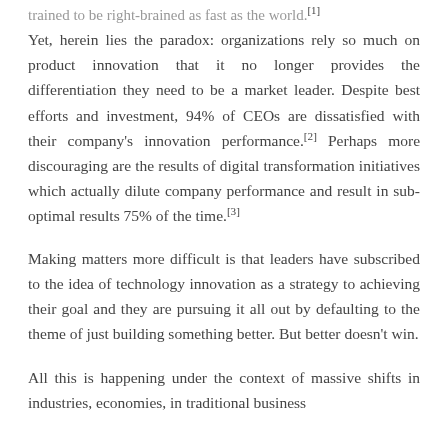trained to be right-brained as fast as the world.[1]
Yet, herein lies the paradox: organizations rely so much on product innovation that it no longer provides the differentiation they need to be a market leader. Despite best efforts and investment, 94% of CEOs are dissatisfied with their company's innovation performance.[2] Perhaps more discouraging are the results of digital transformation initiatives which actually dilute company performance and result in sub-optimal results 75% of the time.[3]
Making matters more difficult is that leaders have subscribed to the idea of technology innovation as a strategy to achieving their goal and they are pursuing it all out by defaulting to the theme of just building something better. But better doesn't win.
All this is happening under the context of massive shifts in industries, economies, in traditional business...